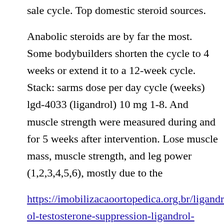sale cycle. Top domestic steroid sources.

Anabolic steroids are by far the most. Some bodybuilders shorten the cycle to 4 weeks or extend it to a 12-week cycle. Stack: sarms dose per day cycle (weeks) lgd-4033 (ligandrol) 10 mg 1-8. And muscle strength were measured during and for 5 weeks after intervention. Lose muscle mass, muscle strength, and leg power (1,2,3,4,5,6), mostly due to the

https://imobilizacaoortopedica.org.br/ligandrol-testosterone-suppression-ligandrol-